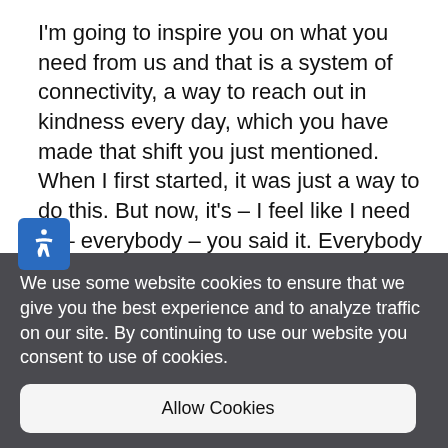I'm going to inspire you on what you need from us and that is a system of connectivity, a way to reach out in kindness every day, which you have made that shift you just mentioned. When I first started, it was just a way to do this. But now, it's – I feel like I need to – everybody – you said it. Everybody should get a birthday card. I'm not going to let somebody I know have her birthday come and go without her
We use some website cookies to ensure that we give you the best experience and to analyze traffic on our site. By continuing to use our website you consent to use of cookies.